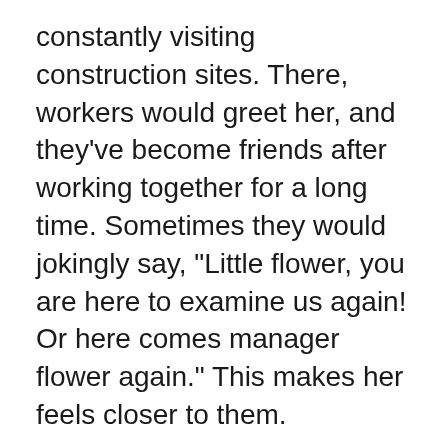constantly visiting construction sites. There, workers would greet her, and they've become friends after working together for a long time. Sometimes they would jokingly say, "Little flower, you are here to examine us again! Or here comes manager flower again." This makes her feels closer to them.
Speaking of her nickname, she said when she first arrived in Egypt, she joked about making her nickname "Desert Flower" official. Later, because of her tough work style, she gathered a few names, such as "Desert Cactus," "Manager Flower" and "Director Flower."
Project's future